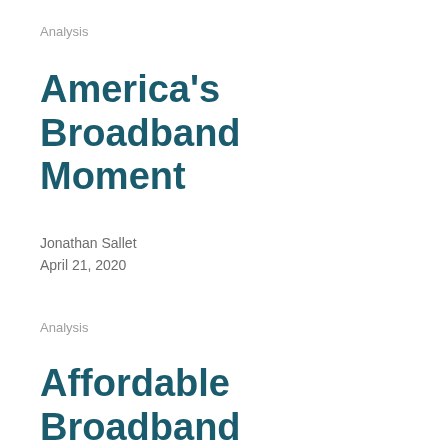Analysis
America's Broadband Moment
Jonathan Sallet
April 21, 2020
Analysis
Affordable Broadband Now and Later